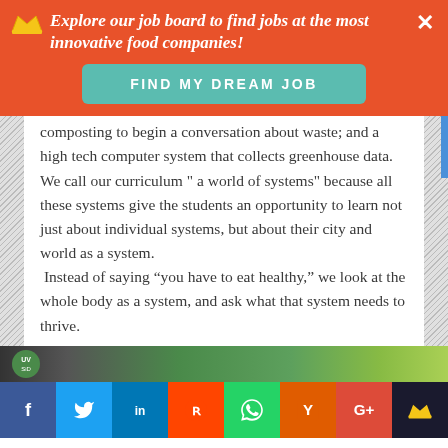Explore our job board to find jobs at the most innovative food companies!
FIND MY DREAM JOB
composting to begin a conversation about waste; and a high tech computer system that collects greenhouse data.  We call our curriculum " a world of systems" because all these systems give the students an opportunity to learn not just about individual systems, but about their city and world as a system.
 Instead of saying “you have to eat healthy,” we look at the whole body as a system, and ask what that system needs to thrive.
[Figure (photo): Bottom image strip showing a logo and partial photo of a greenhouse or garden setting]
Social sharing bar: Facebook, Twitter, LinkedIn, Reddit, WhatsApp, Hacker News, Google+, Crown